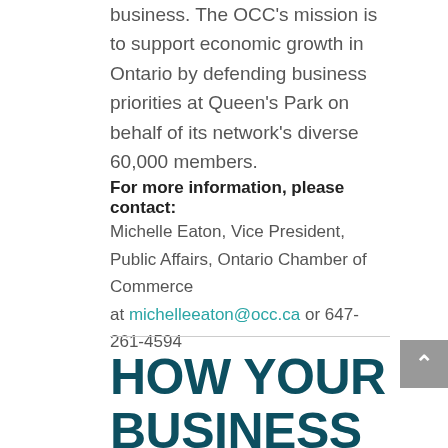business. The OCC's mission is to support economic growth in Ontario by defending business priorities at Queen's Park on behalf of its network's diverse 60,000 members.
For more information, please contact:
Michelle Eaton, Vice President, Public Affairs, Ontario Chamber of Commerce at michelleeaton@occ.ca or 647-261-4594
HOW YOUR BUSINESS OR ORGANIZATION CAN HELP FIGHT